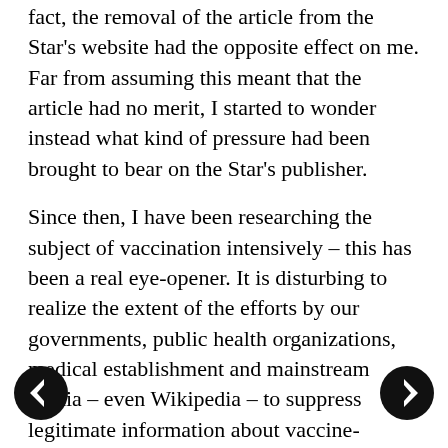fact, the removal of the article from the Star's website had the opposite effect on me. Far from assuming this meant that the article had no merit, I started to wonder instead what kind of pressure had been brought to bear on the Star's publisher.
Since then, I have been researching the subject of vaccination intensively – this has been a real eye-opener. It is disturbing to realize the extent of the efforts by our governments, public health organizations, medical establishment and mainstream media – even Wikipedia – to suppress legitimate information about vaccine-induced adverse events.
Your site seems to be a very reliable source of information on this topic, for which I thank